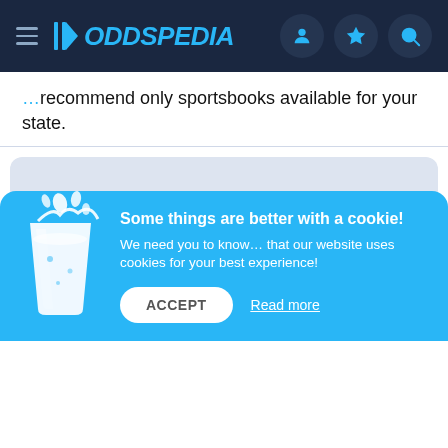ODDSPEDIA navigation bar
recommend only sportsbooks available for your state.
[Figure (screenshot): Loading skeleton card with two circles and a pill placeholder, set on a light gray rounded background]
[Figure (illustration): Cookie consent banner with a milk glass illustration. Title: Some things are better with a cookie! Body: We need you to know... that our website uses cookies for your best experience! Buttons: ACCEPT and Read more]